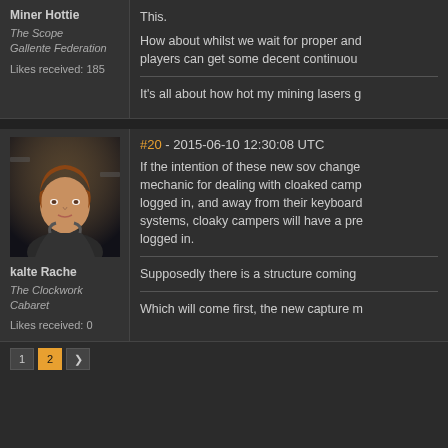Miner Hottie
The Scope
Gallente Federation
Likes received: 185
This.
How about whilst we wait for proper and players can get some decent continuou
It's all about how hot my mining lasers g
#20 - 2015-06-10 12:30:08 UTC
If the intention of these new sov change mechanic for dealing with cloaked camp logged in, and away from their keyboard systems, cloaky campers will have a pr logged in.
Supposedly there is a structure coming
Which will come first, the new capture m
kalte Rache
The Clockwork Cabaret
Likes received: 0
1  2  >